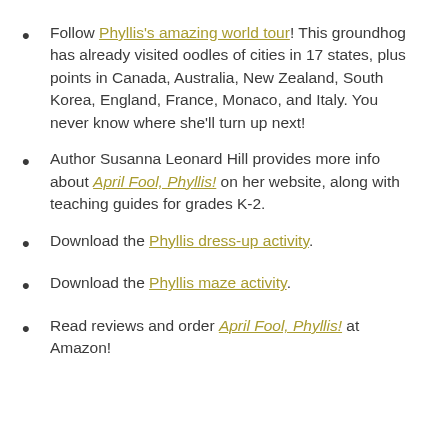Follow Phyllis's amazing world tour! This groundhog has already visited oodles of cities in 17 states, plus points in Canada, Australia, New Zealand, South Korea, England, France, Monaco, and Italy. You never know where she'll turn up next!
Author Susanna Leonard Hill provides more info about April Fool, Phyllis! on her website, along with teaching guides for grades K-2.
Download the Phyllis dress-up activity.
Download the Phyllis maze activity.
Read reviews and order April Fool, Phyllis! at Amazon!